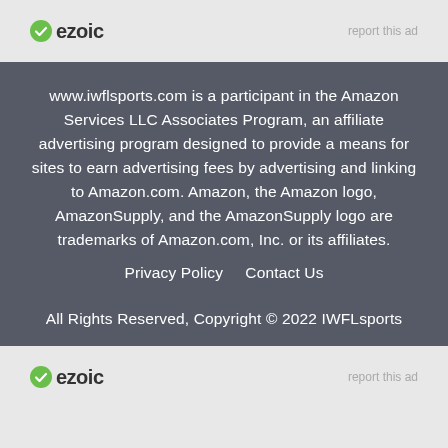[Figure (logo): Ezoic logo with green circle-check icon and bold 'ezoic' text]
report this ad
www.iwflsports.com is a participant in the Amazon Services LLC Associates Program, an affiliate advertising program designed to provide a means for sites to earn advertising fees by advertising and linking to Amazon.com. Amazon, the Amazon logo, AmazonSupply, and the AmazonSupply logo are trademarks of Amazon.com, Inc. or its affiliates.
Privacy Policy    Contact Us
All Rights Reserved, Copyright © 2022 IWFLsports
[Figure (logo): Ezoic logo with green circle-check icon and bold 'ezoic' text]
report this ad